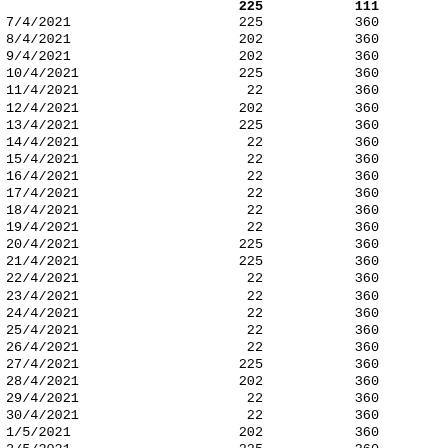| Date | Col2 | Col3 | Col4 | Col5 |
| --- | --- | --- | --- | --- |
| 7/4/2021 | 225 | 360 | 1 | 1 |
| 8/4/2021 | 202 | 360 | 1 | 1 |
| 9/4/2021 | 202 | 360 | 1 | 3 |
| 10/4/2021 | 225 | 360 | 1 | 1 |
| 11/4/2021 | 22 | 360 | 1 | 1 |
| 12/4/2021 | 202 | 360 | 1 | 1 |
| 13/4/2021 | 225 | 360 | 1 | 1 |
| 14/4/2021 | 22 | 360 | 0 | 0 |
| 15/4/2021 | 22 | 360 | 1 | 1 |
| 16/4/2021 | 22 | 360 | 1 | 1 |
| 17/4/2021 | 22 | 360 | 1 | 2 |
| 18/4/2021 | 22 | 360 | 1 | 1 |
| 19/4/2021 | 22 | 360 | 1 | 1 |
| 20/4/2021 | 225 | 360 | 1 | 0 |
| 21/4/2021 | 225 | 360 | 1 | 1 |
| 22/4/2021 | 22 | 360 | 1 | 2 |
| 23/4/2021 | 22 | 360 | 1 | 1 |
| 24/4/2021 | 22 | 360 | 1 | 1 |
| 25/4/2021 | 22 | 360 | 1 | 1 |
| 26/4/2021 | 22 | 360 | 1 | 1 |
| 27/4/2021 | 225 | 360 | 1 | 0 |
| 28/4/2021 | 202 | 360 | 1 | 0 |
| 29/4/2021 | 22 | 360 | 1 | 1 |
| 30/4/2021 | 22 | 360 | 1 | 1 |
| 1/5/2021 | 202 | 360 | 1 | 0 |
| 2/5/2021 | 225 | 360 | 1 | 0 |
| 3/5/2021 | 225 | 360 | 1 | 1 |
| 4/5/2021 | 112 | 360 | 1 | 1 |
| 5/5/2021 | 22 | 360 | 1 | 1 |
| 6/5/2021 | 22 | 360 | 1 | 1 |